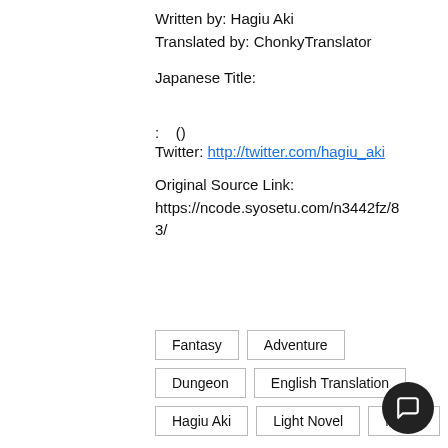Written by: Hagiu Aki
Translated by: ChonkyTranslator
Japanese Title:
:    ()
Twitter: http://twitter.com/hagiu_aki
Original Source Link:
https://ncode.syosetu.com/n3442fz/83/
Fantasy
Adventure
Dungeon
English Translation
Hagiu Aki
Light Novel
Magic